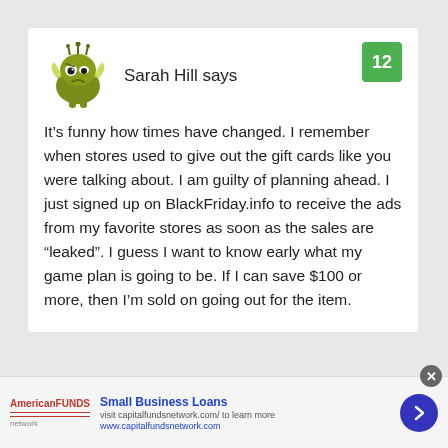[Figure (illustration): Green cartoon monster avatar with wings and crown]
Sarah Hill says
12
It’s funny how times have changed. I remember when stores used to give out the gift cards like you were talking about. I am guilty of planning ahead. I just signed up on BlackFriday.info to receive the ads from my favorite stores as soon as the sales are “leaked”. I guess I want to know early what my game plan is going to be. If I can save $100 or more, then I’m sold on going out for the item.
Small Business Loans
visit capitalfundsnetwork.com/ to learn more
www.capitalfundsnetwork.com